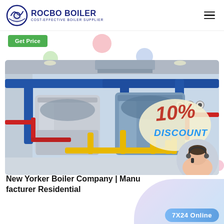[Figure (logo): Rocbo Boiler logo with circular boiler icon and text 'ROCBO BOILER - COST-EFFECTIVE BOILER SUPPLIER']
Get Price
[Figure (photo): Industrial boiler room with blue pipes, two large cylindrical boilers, yellow and red pipe systems, gauges, and a 10% DISCOUNT overlay badge with customer service representative]
New Yorker Boiler Company | Manufacturer Residential
7X24 Online